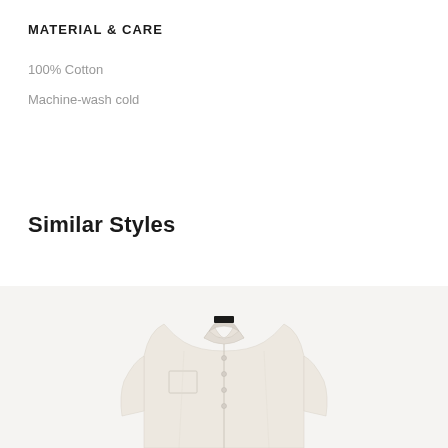MATERIAL & CARE
100% Cotton
Machine-wash cold
Similar Styles
[Figure (photo): A light cream/beige button-up collared shirt displayed on a light gray background, showing the upper body portion with collar, buttons, and chest pocket visible.]